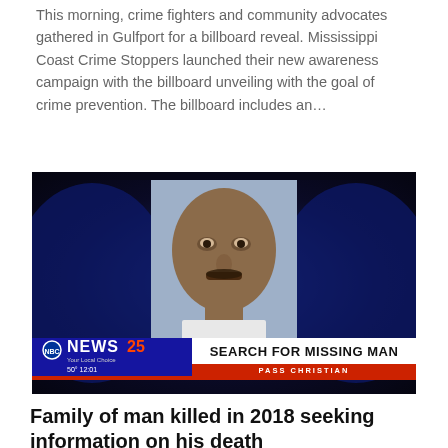This morning, crime fighters and community advocates gathered in Gulfport for a billboard reveal. Mississippi Coast Crime Stoppers launched their new awareness campaign with the billboard unveiling with the goal of crime prevention. The billboard includes an…
[Figure (screenshot): News broadcast screenshot from WXXV News 25 showing a mugshot photo of a man against a blue background. Lower third graphic reads 'SEARCH FOR MISSING MAN' with location 'PASS CHRISTIAN'. Temperature shows 50° and time 12:01.]
Family of man killed in 2018 seeking information on his death
by WXXV   January 22, 2021
Mississippi Coast Crime Stoppers and the family of a man killed in his Pass Christian home are seeking information on a man's death.